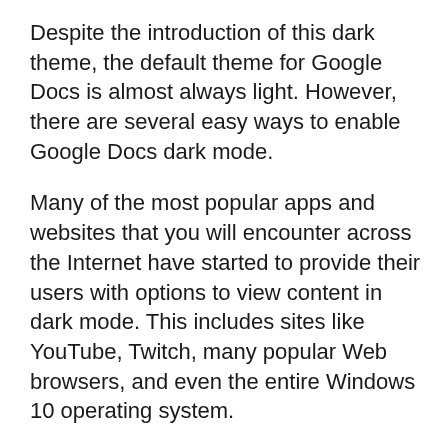Despite the introduction of this dark theme, the default theme for Google Docs is almost always light. However, there are several easy ways to enable Google Docs dark mode.
Many of the most popular apps and websites that you will encounter across the Internet have started to provide their users with options to view content in dark mode. This includes sites like YouTube, Twitch, many popular Web browsers, and even the entire Windows 10 operating system.
In this tutorial, we will be discussing how you can activate the Google Docs dark mode through Android, iOS, and even Google Chrome